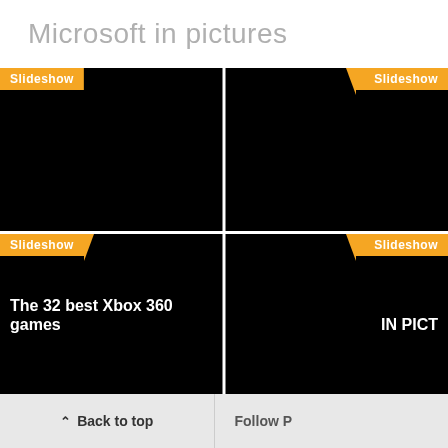Microsoft in pictures
[Figure (screenshot): A 2x2 grid of black slideshow thumbnail panels. Top-left panel has orange 'Slideshow' badge. Top-right panel has orange 'Slideshow' badge (partially cut off). Bottom-left panel has orange 'Slideshow' badge and white text 'The 32 best Xbox 360 games'. Bottom-right panel has orange 'Slideshow' badge and white text 'IN PICT' (partially cut off). All panels have black backgrounds.]
Back to top   Follow P